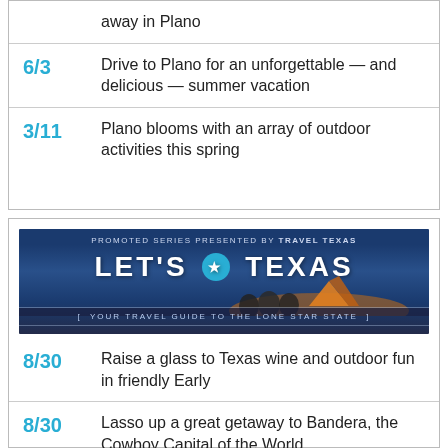away in Plano
6/3 Drive to Plano for an unforgettable — and delicious — summer vacation
3/11 Plano blooms with an array of outdoor activities this spring
[Figure (illustration): Promoted series banner: PROMOTED SERIES PRESENTED BY TRAVEL TEXAS — LET'S TEXAS — YOUR TRAVEL GUIDE TO THE LONE STAR STATE, with camping scene silhouette and tent]
8/30 Raise a glass to Texas wine and outdoor fun in friendly Early
8/30 Lasso up a great getaway to Bandera, the Cowboy Capital of the World